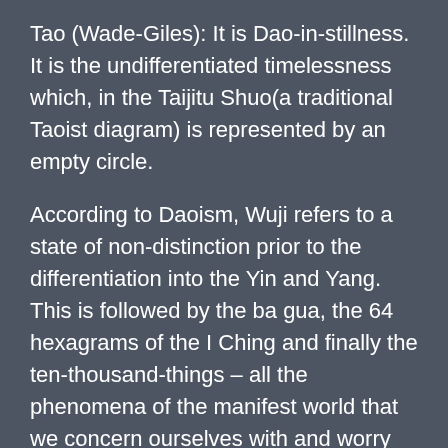Tao (Wade-Giles): It is Dao-in-stillness. It is the undifferentiated timelessness which, in the Taijitu Shuo(a traditional Taoist diagram) is represented by an empty circle.
According to Daoism, Wuji refers to a state of non-distinction prior to the differentiation into the Yin and Yang. This is followed by the ba gua, the 64 hexagrams of the I Ching and finally the ten-thousand-things – all the phenomena of the manifest world that we concern ourselves with and worry about.
Wuji can therefore be seen as a point of potential for movement, which is taiji (pinyin) or tai chi (Wade-Giles). Hence, before we begin our